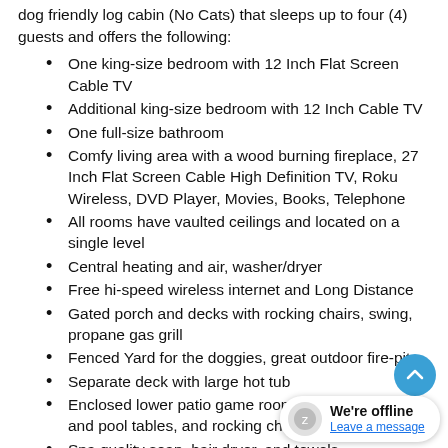dog friendly log cabin (No Cats) that sleeps up to four (4) guests and offers the following:
One king-size bedroom with 12 Inch Flat Screen Cable TV
Additional king-size bedroom with 12 Inch Cable TV
One full-size bathroom
Comfy living area with a wood burning fireplace, 27 Inch Flat Screen Cable High Definition TV, Roku Wireless, DVD Player, Movies, Books, Telephone
All rooms have vaulted ceilings and located on a single level
Central heating and air, washer/dryer
Free hi-speed wireless internet and Long Distance
Gated porch and decks with rocking chairs, swing, propane gas grill
Fenced Yard for the doggies, great outdoor fire-pit.
Separate deck with large hot tub
Enclosed lower patio game room, with ping/pong and pool tables, and rocking chairs
Spa quality soap, hair dryer, and towels